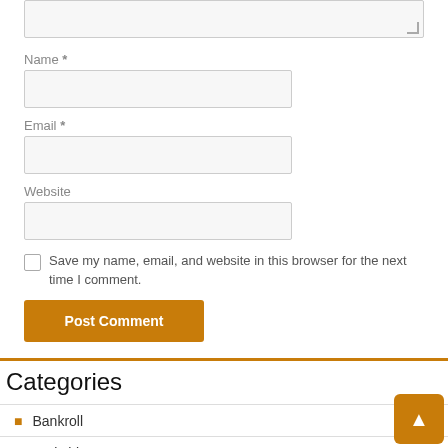Name *
Email *
Website
Save my name, email, and website in this browser for the next time I comment.
Post Comment
Categories
Bankroll
Berkshire Car Loans